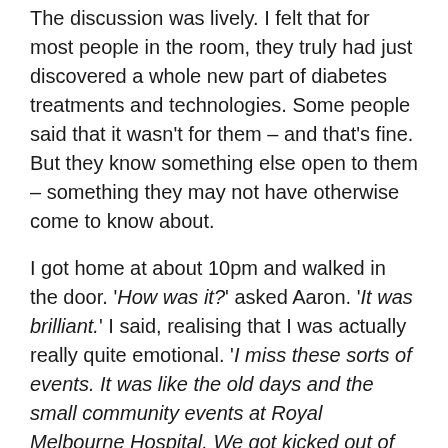The discussion was lively. I felt that for most people in the room, they truly had just discovered a whole new part of diabetes treatments and technologies. Some people said that it wasn't for them – and that's fine. But they know something else open to them – something they may not have otherwise come to know about.
I got home at about 10pm and walked in the door. 'How was it?' asked Aaron. 'It was brilliant.' I said, realising that I was actually really quite emotional. 'I miss these sorts of events. It was like the old days and the small community events at Royal Melbourne Hospital. We got kicked out of the auditorium so security could lock up!'
These days, I mostly attend events for HCPs, presenting at conferences and meetings. I enjoy this part of my work because it means I can provide a PWD perspective of what happens at these events. And I attend on the d...